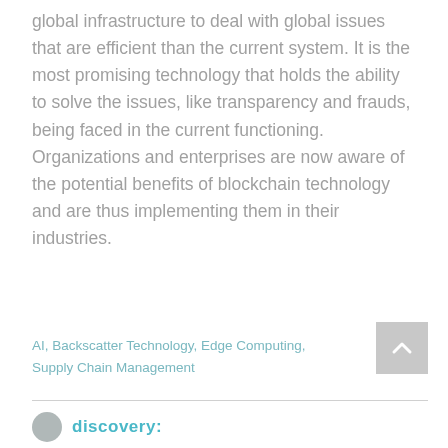global infrastructure to deal with global issues that are efficient than the current system. It is the most promising technology that holds the ability to solve the issues, like transparency and frauds, being faced in the current functioning. Organizations and enterprises are now aware of the potential benefits of blockchain technology and are thus implementing them in their industries.
AI, Backscatter Technology, Edge Computing, Supply Chain Management
discovery